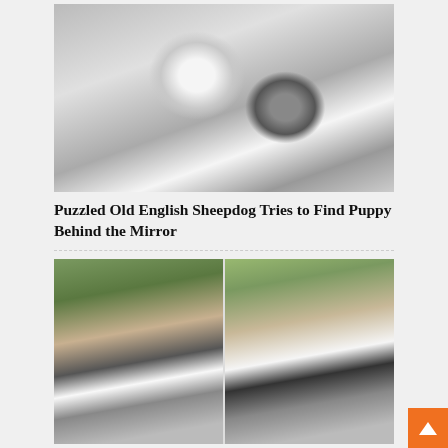[Figure (photo): Black and white Old English Sheepdog puppy looking at its reflection in a mirror]
Puzzled Old English Sheepdog Tries to Find Puppy Behind the Mirror
[Figure (photo): Two-panel photo of Border Collie dogs on a brick path with a drain grate; left panel shows two dogs, right panel shows one dog following another]
Clever Border Collie Fetches His Wandering Husky Friend